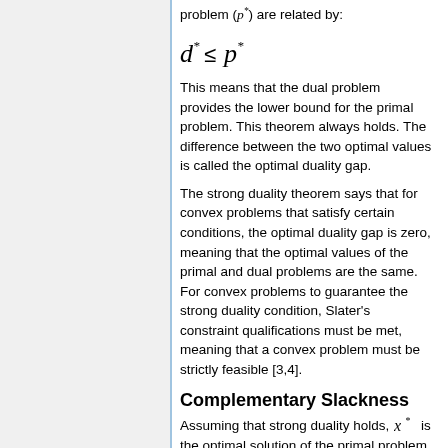problem (p*) are related by:
This means that the dual problem provides the lower bound for the primal problem. This theorem always holds. The difference between the two optimal values is called the optimal duality gap.
The strong duality theorem says that for convex problems that satisfy certain conditions, the optimal duality gap is zero, meaning that the optimal values of the primal and dual problems are the same. For convex problems to guarantee the strong duality condition, Slater's constraint qualifications must be met, meaning that a convex problem must be strictly feasible [3,4].
Complementary Slackness
Assuming that strong duality holds, x* is the optimal solution of the primal problem, and (λ*, ν*) are the optimal values of the